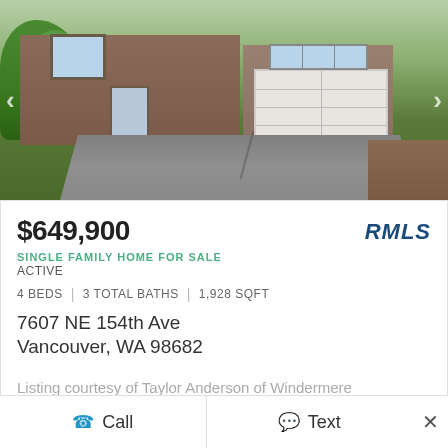[Figure (photo): Exterior photo of a single family home showing a brick/stone facade with a two-car garage, concrete driveway, and landscaped front yard with shrubs and trees.]
$649,900
SINGLE FAMILY HOME FOR SALE
ACTIVE
4 BEDS | 3 TOTAL BATHS | 1,928 SQFT
7607 NE 154th Ave
Vancouver, WA 98682
Listing courtesy of Taylor Anderson of Windermere Northwest Living
Call
Text